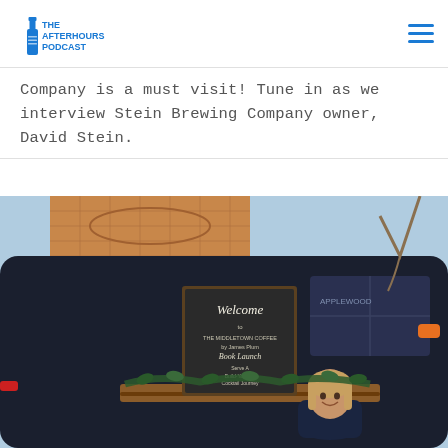The Afterhours Podcast (logo)
Company is a must visit! Tune in as we interview Stein Brewing Company owner, David Stein.
[Figure (photo): A woman standing in front of a dark navy food/bar trailer with a chalkboard 'Welcome' sign, garland decoration, and a wooden serving counter. A brick building is visible in the background.]